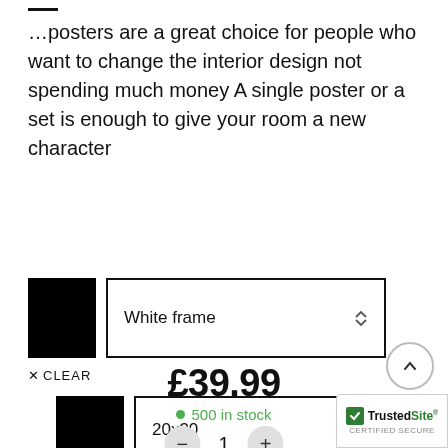…posters are a great choice for people who want to change the interior design not spending much money A single poster or a set is enough to give your room a new character
[Figure (screenshot): Product option selectors: a black color swatch with a dropdown showing '20x30', and a second black swatch with a dropdown showing 'White frame', plus an X CLEAR link below]
£39.99
500 in stock
1
[Figure (logo): TrustedSite CERTIFIED SECURE badge]